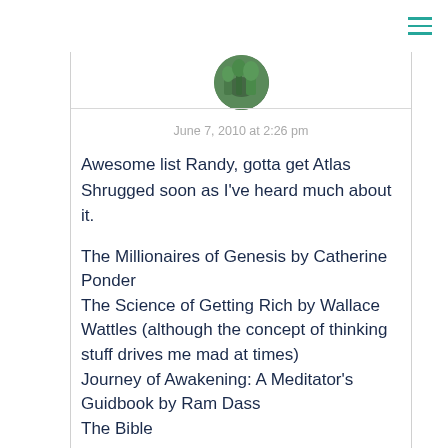[Figure (photo): Circular avatar photo showing a person outdoors with trees/green background]
June 7, 2010 at 2:26 pm
Awesome list Randy, gotta get Atlas Shrugged soon as I've heard much about it.
The Millionaires of Genesis by Catherine Ponder
The Science of Getting Rich by Wallace Wattles (although the concept of thinking stuff drives me mad at times)
Journey of Awakening: A Meditator's Guidbook by Ram Dass
The Bible